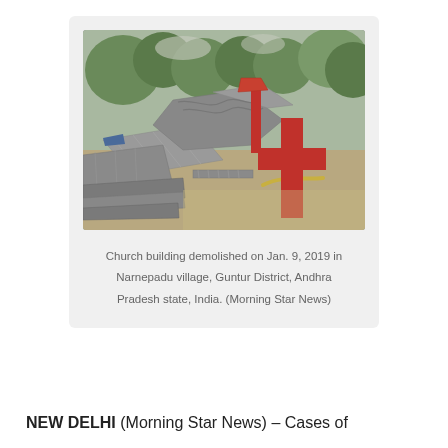[Figure (photo): Photograph of a demolished church building showing scattered corrugated metal roofing sheets on the ground, a red Christian cross standing upright in the foreground, with trees visible in the background. Taken on Jan. 9, 2019 in Narnepadu village, Guntur District, Andhra Pradesh state, India.]
Church building demolished on Jan. 9, 2019 in Narnepadu village, Guntur District, Andhra Pradesh state, India. (Morning Star News)
NEW DELHI (Morning Star News) – Cases of